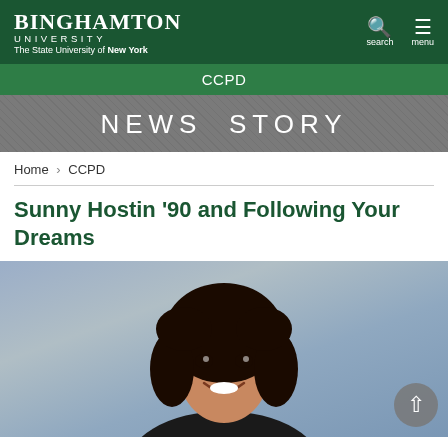BINGHAMTON UNIVERSITY The State University of New York
CCPD
NEWS STORY
Home › CCPD
Sunny Hostin '90 and Following Your Dreams
[Figure (photo): Professional portrait photo of Sunny Hostin, a woman with dark curly hair, smiling at the camera against a blue-grey background.]